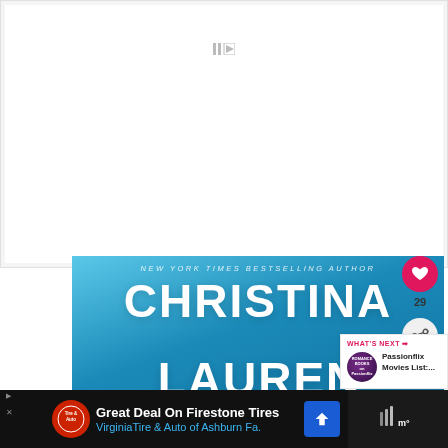[Figure (other): White/light gray rectangular area — embedded media placeholder with small play/pause icon at top]
[Figure (illustration): Book cover with bright blue gradient background. Text reads: NEW YORK TIMES BESTSELLING AUTHOR / CHRISTINA / LAUREN in large white bold letters]
[Figure (other): Heart (like) button — pink circle with heart icon, showing 29 likes and a share button below]
[Figure (other): WHAT'S NEXT panel with Romance Books on Passionflix thumbnail and text 'Passionflix Movies List:...']
[Figure (other): Advertisement banner: 'Great Deal On Firestone Tires — VirginiaTire & Auto of Ashburn Fa.' with Firestone logo and blue navigation icon]